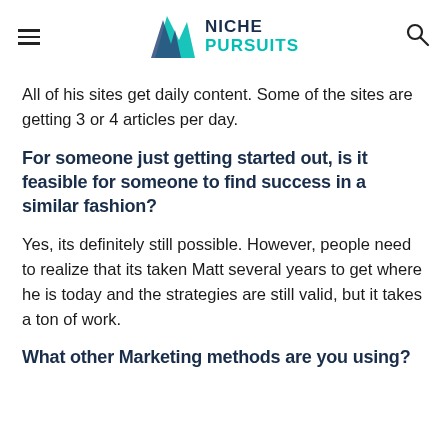NICHE PURSUITS
All of his sites get daily content.  Some of the sites are getting 3 or 4 articles per day.
For someone just getting started out, is it feasible for someone to find success in a similar fashion?
Yes, its definitely still possible.  However, people need to realize that its taken Matt several years to get where he is today and the strategies are still valid, but it takes a ton of work.
What other Marketing methods are you using?